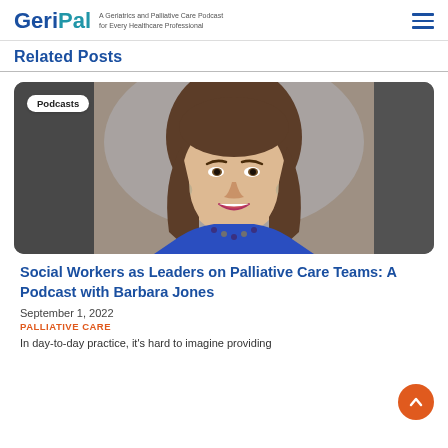GeriPal — A Geriatrics and Palliative Care Podcast for Every Healthcare Professional
Related Posts
[Figure (photo): Headshot of a smiling woman with brown hair wearing a blue top and beaded necklace, with a 'Podcasts' badge in the top-left corner of the image card.]
Social Workers as Leaders on Palliative Care Teams: A Podcast with Barbara Jones
September 1, 2022
PALLIATIVE CARE
In day-to-day practice, it's hard to imagine providing